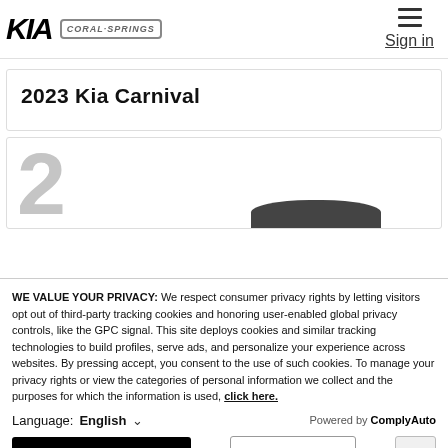KIA | Coral Springs | Sign in
2023 Kia Carnival
[Figure (other): Card showing large grey number 2 with partial car silhouette visible at bottom]
WE VALUE YOUR PRIVACY: We respect consumer privacy rights by letting visitors opt out of third-party tracking cookies and honoring user-enabled global privacy controls, like the GPC signal. This site deploys cookies and similar tracking technologies to build profiles, serve ads, and personalize your experience across websites. By pressing accept, you consent to the use of such cookies. To manage your privacy rights or view the categories of personal information we collect and the purposes for which the information is used, click here.
Language: English ∨  Powered by ComplyAuto
Accept and Continue → | Privacy Policy | ×